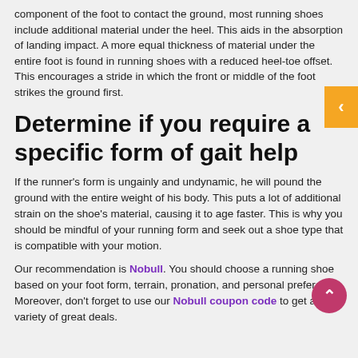component of the foot to contact the ground, most running shoes include additional material under the heel. This aids in the absorption of landing impact. A more equal thickness of material under the entire foot is found in running shoes with a reduced heel-toe offset. This encourages a stride in which the front or middle of the foot strikes the ground first.
Determine if you require a specific form of gait help
If the runner's form is ungainly and undynamic, he will pound the ground with the entire weight of his body. This puts a lot of additional strain on the shoe's material, causing it to age faster. This is why you should be mindful of your running form and seek out a shoe type that is compatible with your motion.
Our recommendation is Nobull. You should choose a running shoe based on your foot form, terrain, pronation, and personal preference. Moreover, don't forget to use our Nobull coupon code to get a variety of great deals.